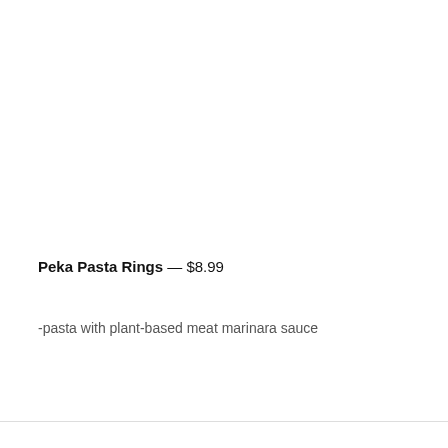Peka Pasta Rings — $8.99
-pasta with plant-based meat marinara sauce